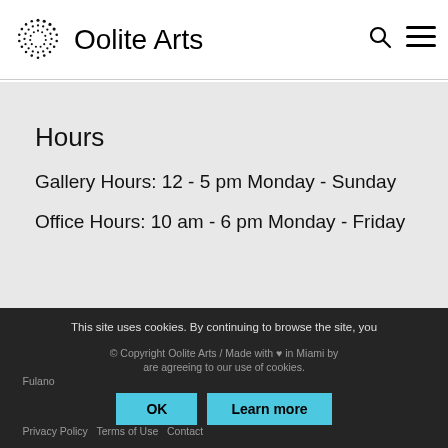Oolite Arts
Hours
Gallery Hours: 12 - 5 pm Monday - Sunday
Office Hours: 10 am - 6 pm Monday - Friday
This site uses cookies. By continuing to browse the site, you are agreeing to our use of cookies. © Copyright Oolite Arts / Made with ♥ in Miami by Fulano Privacy Policy   Terms of Use   Contact